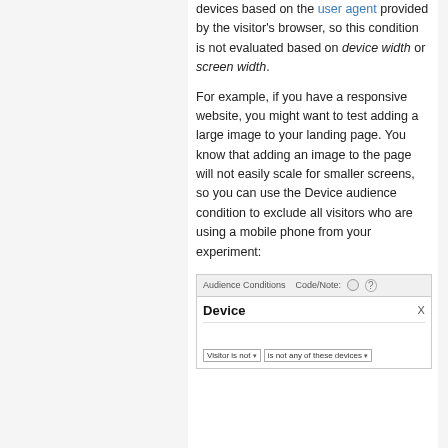devices based on the user agent provided by the visitor's browser, so this condition is not evaluated based on device width or screen width.
For example, if you have a responsive website, you might want to test adding a large image to your landing page. You know that adding an image to the page will not easily scale for smaller screens, so you can use the Device audience condition to exclude all visitors who are using a mobile phone from your experiment:
[Figure (screenshot): Screenshot of Audience Conditions panel showing a 'Device' condition with a visitor dropdown set to 'is not any of these devices']